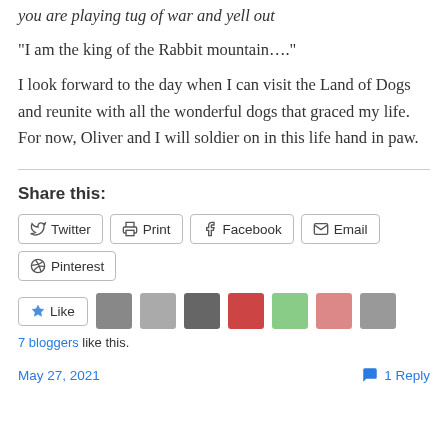you are playing tug of war and yell out
“I am the king of the Rabbit mountain….”
I look forward to the day when I can visit the Land of Dogs and reunite with all the wonderful dogs that graced my life.  For now, Oliver and I will soldier on in this life hand in paw.
Share this:
Twitter  Print  Facebook  Email  Pinterest
Like  7 bloggers like this.
May 27, 2021  1 Reply